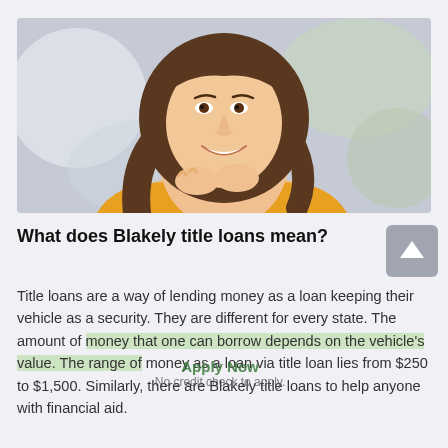[Figure (photo): Smiling young woman with brown wavy hair wearing a yellow/orange top, resting her chin on her hands, blurred light background]
What does Blakely title loans mean?
Title loans are a way of lending money as a loan keeping their vehicle as a security. They are different for every state. The amount of money that one can borrow depends on the vehicle's value. The range of money as a loan via title loan lies from $250 to $1,500. Similarly, there are Blakely title loans to help anyone with financial aid.